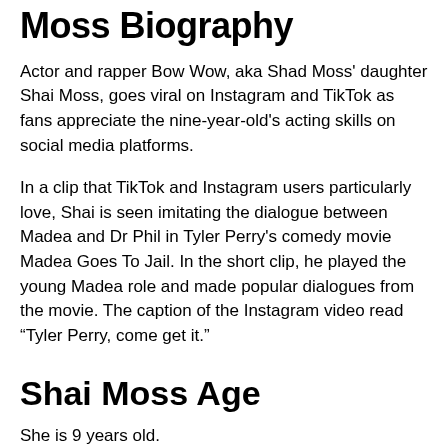Moss Biography
Actor and rapper Bow Wow, aka Shad Moss' daughter Shai Moss, goes viral on Instagram and TikTok as fans appreciate the nine-year-old's acting skills on social media platforms.
In a clip that TikTok and Instagram users particularly love, Shai is seen imitating the dialogue between Madea and Dr Phil in Tyler Perry's comedy movie Madea Goes To Jail. In the short clip, he played the young Madea role and made popular dialogues from the movie. The caption of the Instagram video read “Tyler Perry, come get it.”
Shai Moss Age
She is 9 years old.
Shai Moss 9-year-old goes viral